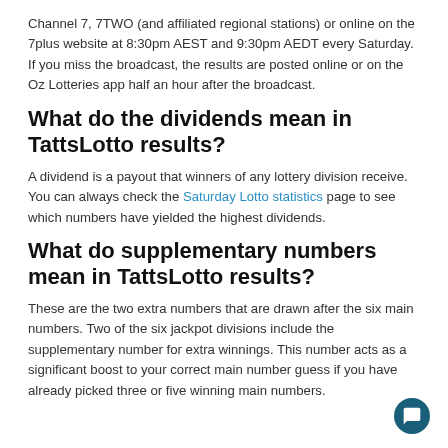Channel 7, 7TWO (and affiliated regional stations) or online on the 7plus website at 8:30pm AEST and 9:30pm AEDT every Saturday. If you miss the broadcast, the results are posted online or on the Oz Lotteries app half an hour after the broadcast.
What do the dividends mean in TattsLotto results?
A dividend is a payout that winners of any lottery division receive. You can always check the Saturday Lotto statistics page to see which numbers have yielded the highest dividends.
What do supplementary numbers mean in TattsLotto results?
These are the two extra numbers that are drawn after the six main numbers. Two of the six jackpot divisions include the supplementary number for extra winnings. This number acts as a significant boost to your correct main number guess if you have already picked three or five winning main numbers.